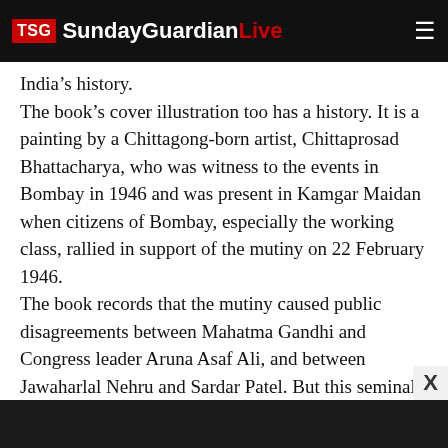TSG SundayGuardianLive
India’s history.
The book’s cover illustration too has a history. It is a painting by a Chittagong-born artist, Chittaprosad Bhattacharya, who was witness to the events in Bombay in 1946 and was present in Kamgar Maidan when citizens of Bombay, especially the working class, rallied in support of the mutiny on 22 February 1946.
The book records that the mutiny caused public disagreements between Mahatma Gandhi and Congress leader Aruna Asaf Ali, and between Jawaharlal Nehru and Sardar Patel. But this seminal event, which inspired a song composed by Salil Choudhury, theatre Kallol by Utpal Dutt and